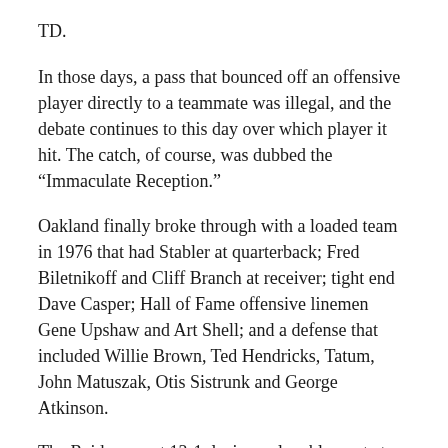TD.
In those days, a pass that bounced off an offensive player directly to a teammate was illegal, and the debate continues to this day over which player it hit. The catch, of course, was dubbed the “Immaculate Reception.”
Oakland finally broke through with a loaded team in 1976 that had Stabler at quarterback; Fred Biletnikoff and Cliff Branch at receiver; tight end Dave Casper; Hall of Fame offensive linemen Gene Upshaw and Art Shell; and a defense that included Willie Brown, Ted Hendricks, Tatum, John Matuszak, Otis Sistrunk and George Atkinson.
The Raiders went 13-1, losing only a blowout at New England in Week 4. They paid the Patriots back with a 24-21 win in their first playoff game and got over the AFC title game hump with a 24-7 win over the hated